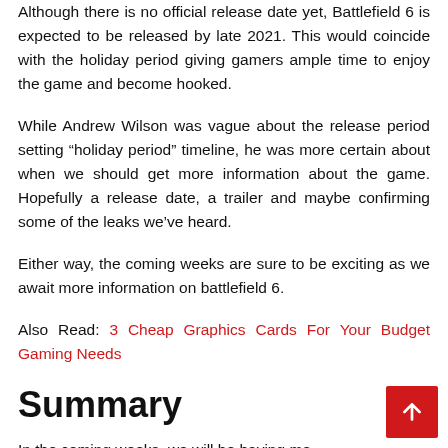Although there is no official release date yet, Battlefield 6 is expected to be released by late 2021. This would coincide with the holiday period giving gamers ample time to enjoy the game and become hooked.
While Andrew Wilson was vague about the release period setting “holiday period” timeline, he was more certain about when we should get more information about the game. Hopefully a release date, a trailer and maybe confirming some of the leaks we’ve heard.
Either way, the coming weeks are sure to be exciting as we await more information on battlefield 6.
Also Read: 3 Cheap Graphics Cards For Your Budget Gaming Needs
Summary
In the coming weeks, we will be having mo